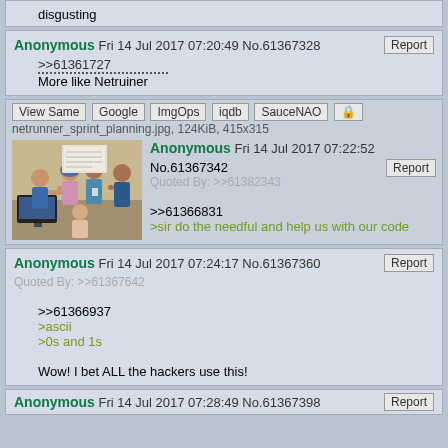disgusting
Anonymous Fri 14 Jul 2017 07:20:49 No.61367328 Report
>>61361727
More like Netruiner
View Same | Google | ImgOps | iqdb | SauceNAO
netrunner_sprint_planning.jpg, 124KiB, 415x315
Anonymous Fri 14 Jul 2017 07:22:52 No.61367342 Report
Quoted By: >>61382343
>>61366831
>sir do the needful and help us with our code
Anonymous Fri 14 Jul 2017 07:24:17 No.61367360 Report
Quoted By: >>61367642
>>61366937
>ascii
>0s and 1s

Wow! I bet ALL the hackers use this!
Anonymous Fri 14 Jul 2017 07:28:49 No.61367398 Report